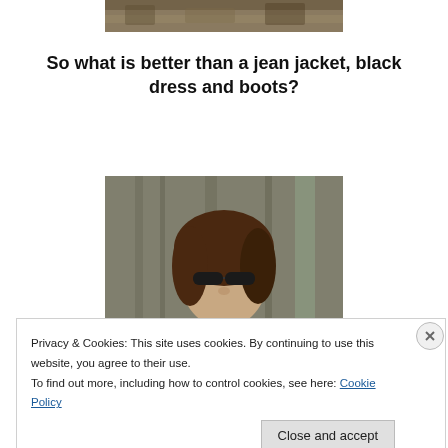[Figure (photo): Top portion of outdoor photo showing ground with dry grass/leaves]
So what is better than a jean jacket, black dress and boots?
[Figure (photo): Photo of a woman with brown hair and dark sunglasses standing in front of a large tree trunk outdoors]
Privacy & Cookies: This site uses cookies. By continuing to use this website, you agree to their use.
To find out more, including how to control cookies, see here: Cookie Policy
Close and accept